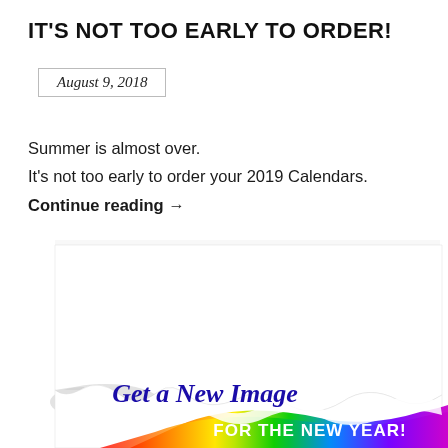IT'S NOT TOO EARLY TO ORDER!
August 9, 2018
Summer is almost over.
It's not too early to order your 2019 Calendars.
Continue reading →
[Figure (illustration): Promotional calendar image showing a torn paper page curl effect revealing the text 'Get a New Image FOR THE NEW YEAR!' with a colorful rainbow swoosh at the bottom.]